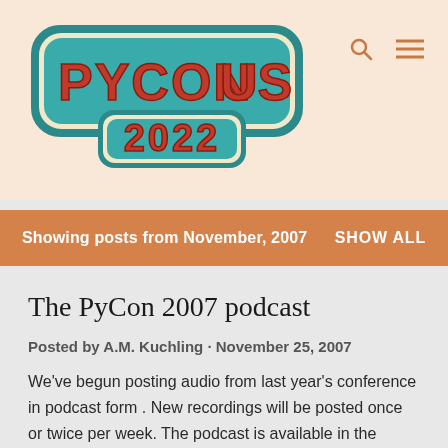[Figure (logo): PyCon US 2022 logo — retro-style lettering in red-orange with teal outline on a light peach background]
Showing posts from November, 2007   SHOW ALL
The PyCon 2007 podcast
Posted by A.M. Kuchling · November 25, 2007
We've begun posting audio from last year's conference in podcast form . New recordings will be posted once or twice per week. The podcast is available in the iTunes Store podcast